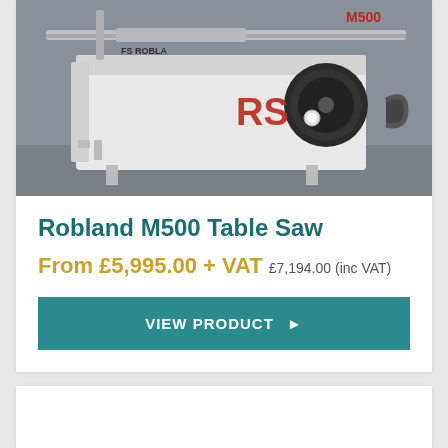[Figure (photo): Robland M500 Table Saw machine photo showing the white machine body with red RS logo, M500 label, and sliding rail on top]
Robland M500 Table Saw
From £5,995.00 + VAT  £7,194.00 (inc VAT)
VIEW PRODUCT